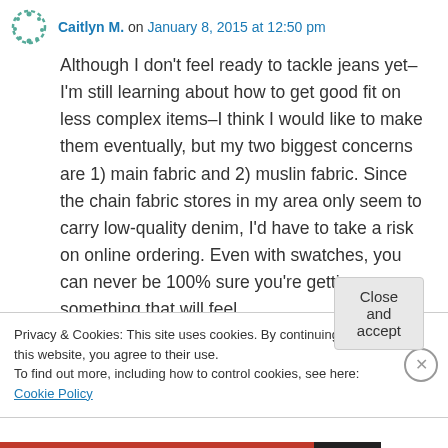Caitlyn M. on January 8, 2015 at 12:50 pm
Although I don't feel ready to tackle jeans yet–I'm still learning about how to get good fit on less complex items–I think I would like to make them eventually, but my two biggest concerns are 1) main fabric and 2) muslin fabric. Since the chain fabric stores in my area only seem to carry low-quality denim, I'd have to take a risk on online ordering. Even with swatches, you can never be 100% sure you're getting something that will feel
Privacy & Cookies: This site uses cookies. By continuing to use this website, you agree to their use.
To find out more, including how to control cookies, see here: Cookie Policy